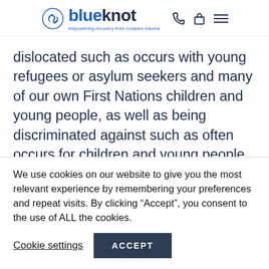blueknot — empowering recovery from complex trauma
dislocated such as occurs with young refugees or asylum seekers and many of our own First Nations children and young people, as well as being discriminated against such as often occurs for children and young people with disability, those from the LGBTIQ+ community and from multicultural
We use cookies on our website to give you the most relevant experience by remembering your preferences and repeat visits. By clicking “Accept”, you consent to the use of ALL the cookies.
Cookie settings    ACCEPT